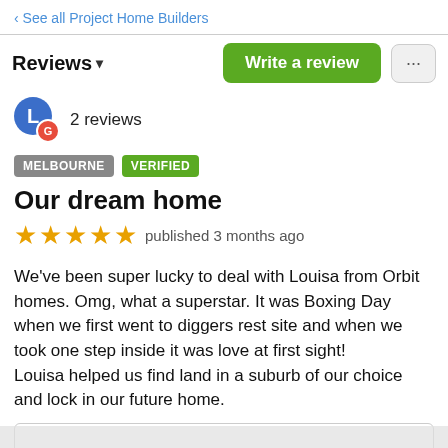‹ See all Project Home Builders
Reviews ▾
[Figure (other): User avatar with blue circle showing letter L and a red Google G badge, with text '2 reviews']
MELBOURNE   VERIFIED
Our dream home
★★★★★  published 3 months ago
We've been super lucky to deal with Louisa from Orbit homes. Omg, what a superstar. It was Boxing Day when we first went to diggers rest site and when we took one step inside it was love at first sight!
Louisa helped us find land in a suburb of our choice and lock in our future home.